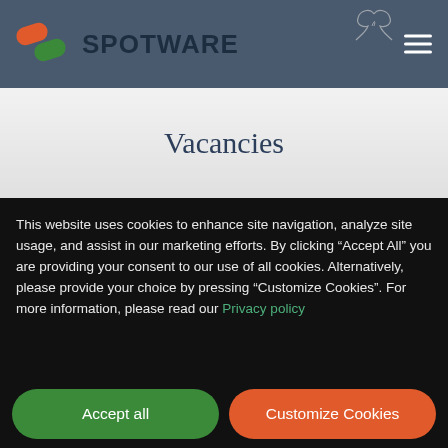SPOTWARE
Vacancies
This website uses cookies to enhance site navigation, analyze site usage, and assist in our marketing efforts. By clicking “Accept All” you are providing your consent to our use of all cookies. Alternatively, please provide your choice by pressing “Customize Cookies”. For more information, please read our Privacy policy
Accept all
Customize Cookies